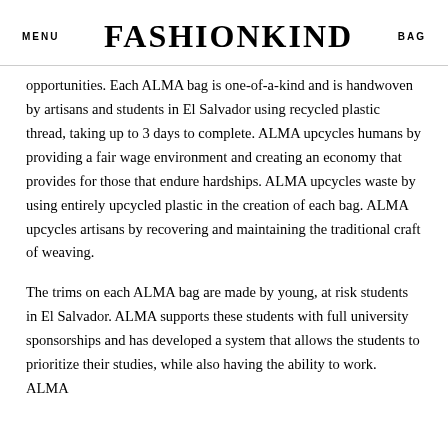MENU   FASHIONKIND   BAG
opportunities. Each ALMA bag is one-of-a-kind and is handwoven by artisans and students in El Salvador using recycled plastic thread, taking up to 3 days to complete. ALMA upcycles humans by providing a fair wage environment and creating an economy that provides for those that endure hardships. ALMA upcycles waste by using entirely upcycled plastic in the creation of each bag. ALMA upcycles artisans by recovering and maintaining the traditional craft of weaving.
The trims on each ALMA bag are made by young, at risk students in El Salvador. ALMA supports these students with full university sponsorships and has developed a system that allows the students to prioritize their studies, while also having the ability to work. ALMA